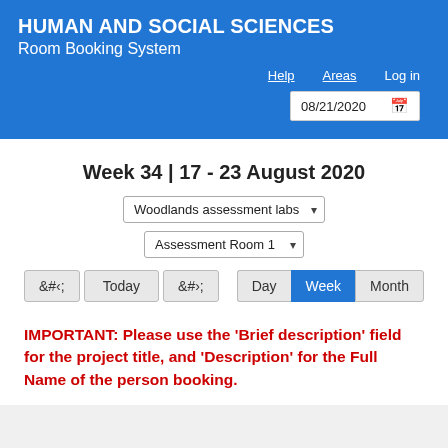HUMAN AND SOCIAL SCIENCES
Room Booking System
Week 34 | 17 - 23 August 2020
Woodlands assessment labs
Assessment Room 1
Day  Week  Month
IMPORTANT: Please use the 'Brief description' field for the project title, and 'Description' for the Full Name of the person booking.